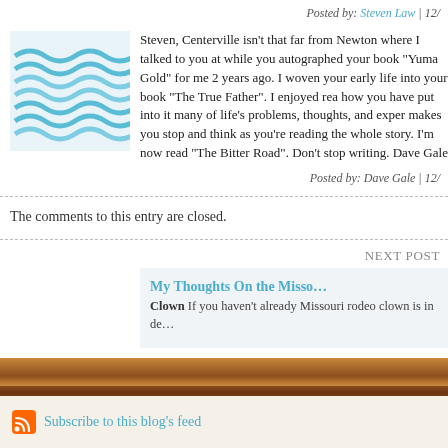Posted by: Steven Law | 12/…
Steven, Centerville isn't that far from Newton where I talked to you at while you autographed your book "Yuma Gold" for me 2 years ago. I woven your early life into your book "The True Father". I enjoyed rea how you have put into it many of life's problems, thoughts, and exper makes you stop and think as you're reading the whole story. I'm now read "The Bitter Road". Don't stop writing. Dave Gale
Posted by: Dave Gale | 12/…
The comments to this entry are closed.
NEXT POST
My Thoughts On the Misso… Clown If you haven't already Missouri rodeo clown is in de…
Subscribe to this blog's feed